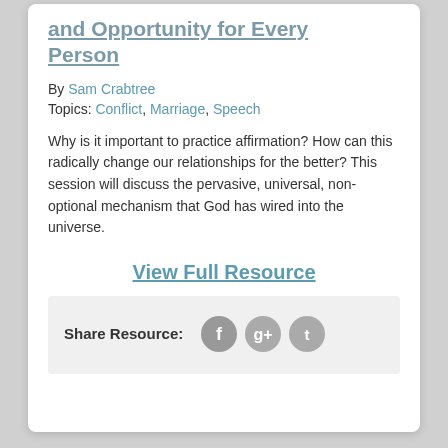and Opportunity for Every Person
By Sam Crabtree
Topics: Conflict, Marriage, Speech
Why is it important to practice affirmation? How can this radically change our relationships for the better? This session will discuss the pervasive, universal, non-optional mechanism that God has wired into the universe.
View Full Resource
Share Resource: